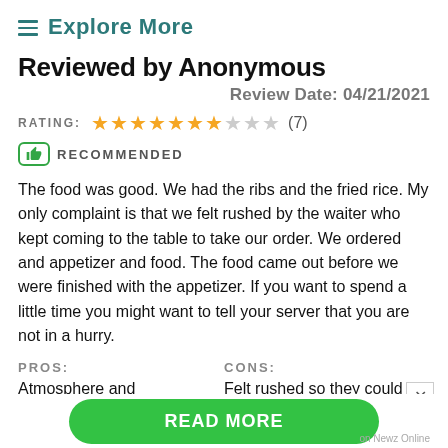≡ Explore More
Reviewed by Anonymous
Review Date: 04/21/2021
RATING: ★★★★★★★☆☆☆ (7)
RECOMMENDED
The food was good. We had the ribs and the fried rice. My only complaint is that we felt rushed by the waiter who kept coming to the table to take our order. We ordered and appetizer and food. The food came out before we were finished with the appetizer. If you want to spend a little time you might want to tell your server that you are not in a hurry.
PROS: Atmosphere and decorations
CONS: Felt rushed so they could table
READ MORE
on Newz Online